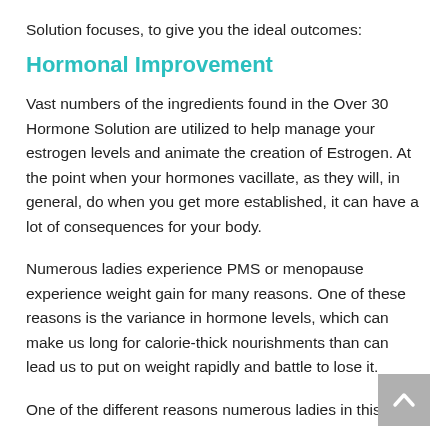Solution focuses, to give you the ideal outcomes:
Hormonal Improvement
Vast numbers of the ingredients found in the Over 30 Hormone Solution are utilized to help manage your estrogen levels and animate the creation of Estrogen. At the point when your hormones vacillate, as they will, in general, do when you get more established, it can have a lot of consequences for your body.
Numerous ladies experience PMS or menopause experience weight gain for many reasons. One of these reasons is the variance in hormone levels, which can make us long for calorie-thick nourishments than can lead us to put on weight rapidly and battle to lose it.
One of the different reasons numerous ladies in this age